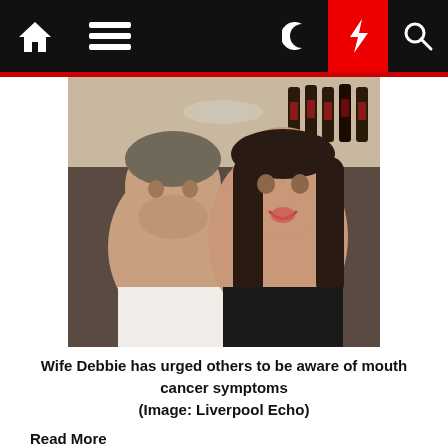[Figure (photo): Navigation bar with home icon, hamburger menu, moon icon, lightning bolt icon (red background), and search icon on black background]
[Figure (photo): Couple taking a selfie in a restaurant; man on left with short hair wearing white shirt, woman on right with long dark hair wearing black top; wine bottles visible in background]
Wife Debbie has urged others to be aware of mouth cancer symptoms (Image: Liverpool Echo)
Read More